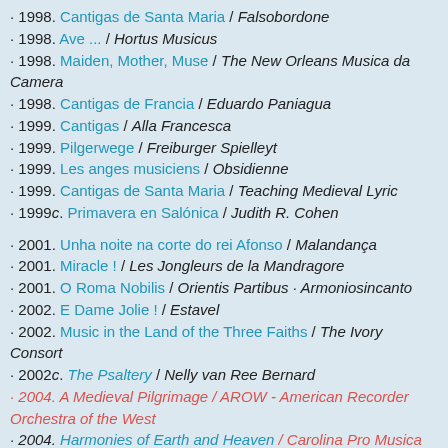· 1998. Cantigas de Santa Maria / Falsobordone
· 1998. Ave ... / Hortus Musicus
· 1998. Maiden, Mother, Muse / The New Orleans Musica da Camera
· 1998. Cantigas de Francia / Eduardo Paniagua
· 1999. Cantigas / Alla Francesca
· 1999. Pilgerwege / Freiburger Spielleyt
· 1999. Les anges musiciens / Obsidienne
· 1999. Cantigas de Santa Maria / Teaching Medieval Lyric
· 1999c. Primavera en Salónica / Judith R. Cohen
· 2001. Unha noite na corte do rei Afonso / Malandança
· 2001. Miracle ! / Les Jongleurs de la Mandragore
· 2001. O Roma Nobilis / Orientis Partibus · Armoniosincanto
· 2002. E Dame Jolie ! / Estavel
· 2002. Music in the Land of the Three Faiths / The Ivory Consort
· 2002c. The Psaltery / Nelly van Ree Bernard
· 2004. A Medieval Pilgrimage / AROW - American Recorder Orchestra of the West
· 2004. Harmonies of Earth and Heaven / Carolina Pro Musica